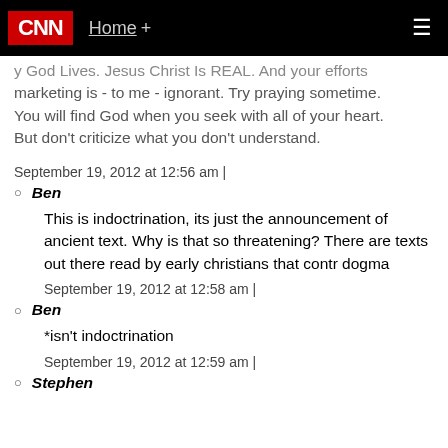CNN | Home +
y God Lives. Jesus Christ Is REAL. And your efforts marketing is - to me - ignorant. Try praying sometime. You will find God when you seek with all of your heart. But don't criticize what you don't understand.
September 19, 2012 at 12:56 am |
Ben
This is indoctrination, its just the announcement of ancient text. Why is that so threatening? There are texts out there read by early christians that contr dogma
September 19, 2012 at 12:58 am |
Ben
*isn't indoctrination
September 19, 2012 at 12:59 am |
Stephen